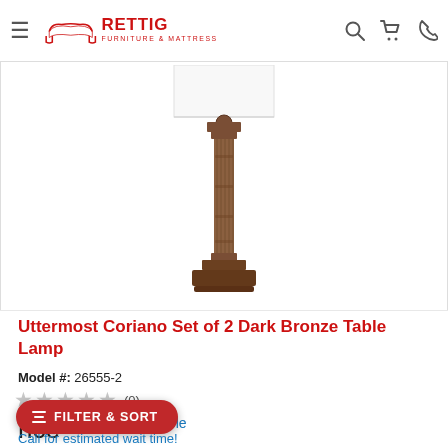Rettig Furniture & Mattress — navigation header with logo, search, cart, and phone icons
[Figure (photo): Product photo of Uttermost Coriano Dark Bronze Table Lamp showing the lamp base — a tall decorative column in dark bronze finish with ornate details, a round finial at top, and a rectangular base, displayed on white background with white rectangular lampshade partially visible at top]
Uttermost Coriano Set of 2 Dark Bronze Table Lamp
Model #: 26555-2
★★★★★ (0)
rice
Available
Call for estimated wait time!